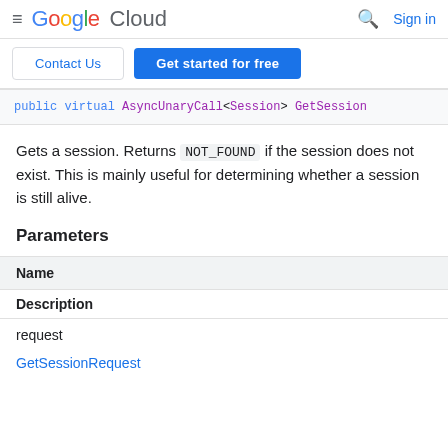Google Cloud  Sign in
Contact Us  Get started for free
public virtual AsyncUnaryCall<Session> GetSession
Gets a session. Returns NOT_FOUND if the session does not exist. This is mainly useful for determining whether a session is still alive.
Parameters
| Name | Description |
| --- | --- |
| request | GetSessionRequest |